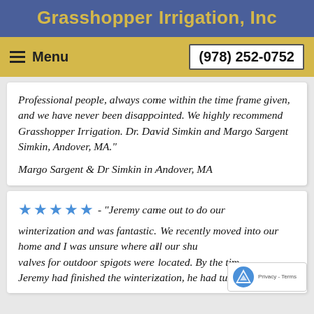Grasshopper Irrigation, Inc
Menu  (978) 252-0752
Professional people, always come within the time frame given, and we have never been disappointed. We highly recommend Grasshopper Irrigation. Dr. David Simkin and Margo Sargent Simkin, Andover, MA."
Margo Sargent & Dr Simkin in Andover, MA
★★★★★ - "Jeremy came out to do our winterization and was fantastic. We recently moved into our home and I was unsure where all our shut valves for outdoor spigots were located. By the time Jeremy had finished the winterization, he had turned